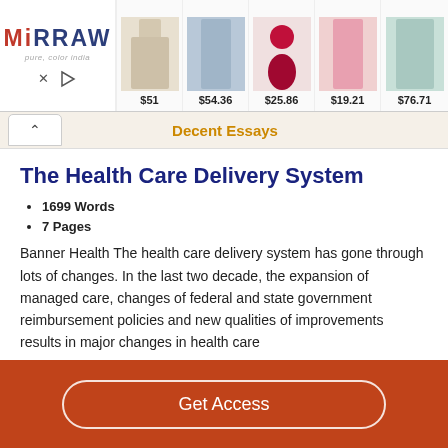[Figure (screenshot): Mirraw fashion advertisement banner showing logo and Indian ethnic wear products with prices: $51, $54.36, $25.86, $19.21, $76.71]
Decent Essays
The Health Care Delivery System
1699 Words
7 Pages
Banner Health The health care delivery system has gone through lots of changes. In the last two decade, the expansion of managed care, changes of federal and state government reimbursement policies and new qualities of improvements results in major changes in health care
Get Access